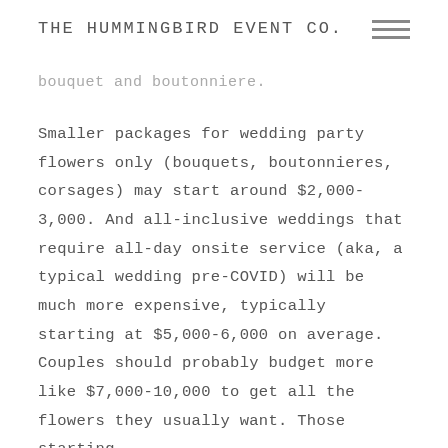THE HUMMINGBIRD EVENT CO.
bouquet and boutonniere.
Smaller packages for wedding party flowers only (bouquets, boutonnieres, corsages) may start around $2,000-3,000. And all-inclusive weddings that require all-day onsite service (aka, a typical wedding pre-COVID) will be much more expensive, typically starting at $5,000-6,000 on average. Couples should probably budget more like $7,000-10,000 to get all the flowers they usually want. Those starting